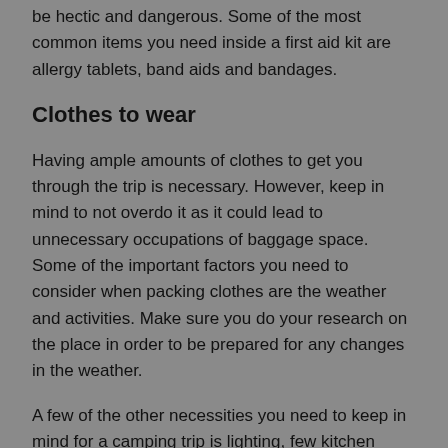be hectic and dangerous. Some of the most common items you need inside a first aid kit are allergy tablets, band aids and bandages.
Clothes to wear
Having ample amounts of clothes to get you through the trip is necessary. However, keep in mind to not overdo it as it could lead to unnecessary occupations of baggage space. Some of the important factors you need to consider when packing clothes are the weather and activities. Make sure you do your research on the place in order to be prepared for any changes in the weather.
A few of the other necessities you need to keep in mind for a camping trip is lighting, few kitchen items to get you through as well as the important